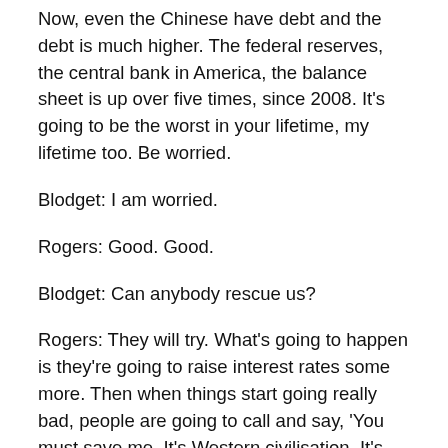Now, even the Chinese have debt and the debt is much higher. The federal reserves, the central bank in America, the balance sheet is up over five times, since 2008. It's going to be the worst in your lifetime, my lifetime too. Be worried.
Blodget: I am worried.
Rogers: Good. Good.
Blodget: Can anybody rescue us?
Rogers: They will try. What's going to happen is they're going to raise interest rates some more. Then when things start going really bad, people are going to call and say, 'You must save me. It's Western civilisation. It's going to collapse.' And the Fed, who is made up of bureaucrats and politicians, will say, 'Well, we better do something.' And